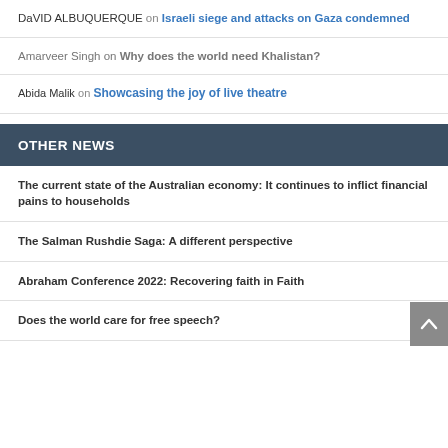DaVID ALBUQUERQUE on Israeli siege and attacks on Gaza condemned
Amarveer Singh on Why does the world need Khalistan?
Abida Malik on Showcasing the joy of live theatre
OTHER NEWS
The current state of the Australian economy: It continues to inflict financial pains to households
The Salman Rushdie Saga: A different perspective
Abraham Conference 2022: Recovering faith in Faith
Does the world care for free speech?